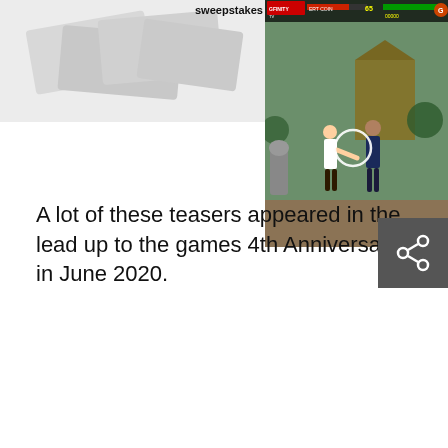[Figure (screenshot): Partial screenshot of a sweepstakes prize article with banknotes visible on a light gray background]
[Figure (screenshot): Screenshot of a classic fighting video game (Mortal Kombat style) showing two fighters, a pagoda background, health bars, coin counter, and game HUD with GFINITY TV branding]
A lot of these teasers appeared in the lead up to the games 4th Anniversary in June 2020.